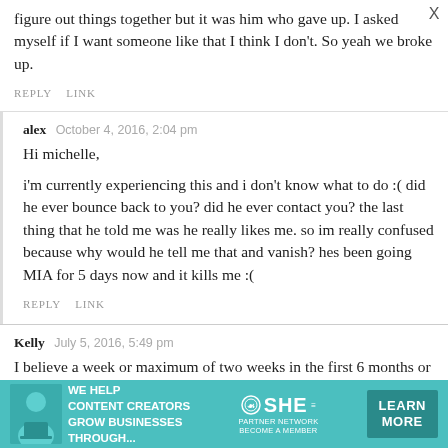figure out things together but it was him who gave up. I asked myself if I want someone like that I think I don't. So yeah we broke up.
REPLY  LINK
alex  October 4, 2016, 2:04 pm
Hi michelle,
i'm currently experiencing this and i don't know what to do :( did he ever bounce back to you? did he ever contact you? the last thing that he told me was he really likes me. so im really confused because why would he tell me that and vanish? hes been going MIA for 5 days now and it kills me :(
REPLY  LINK
Kelly  July 5, 2016, 5:49 pm
I believe a week or maximum of two weeks in the first 6 months or so of getting to know each other is oka
[Figure (screenshot): Advertisement banner: teal background with woman on laptop, text 'WE HELP CONTENT CREATORS GROW BUSINESSES THROUGH...' with SHE Partner Network logo and 'LEARN MORE' button]